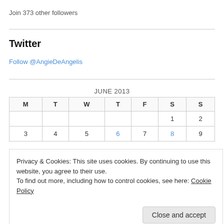Join 373 other followers
Twitter
Follow @AngieDeAngelis
| M | T | W | T | F | S | S |
| --- | --- | --- | --- | --- | --- | --- |
|  |  |  |  |  | 1 | 2 |
| 3 | 4 | 5 | 6 | 7 | 8 | 9 |
Privacy & Cookies: This site uses cookies. By continuing to use this website, you agree to their use.
To find out more, including how to control cookies, see here: Cookie Policy